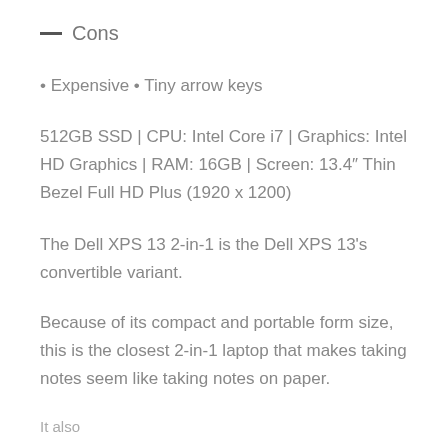— Cons
• Expensive • Tiny arrow keys
512GB SSD | CPU: Intel Core i7 | Graphics: Intel HD Graphics | RAM: 16GB | Screen: 13.4″ Thin Bezel Full HD Plus (1920 x 1200)
The Dell XPS 13 2-in-1 is the Dell XPS 13's convertible variant.
Because of its compact and portable form size, this is the closest 2-in-1 laptop that makes taking notes seem like taking notes on paper.
It also...